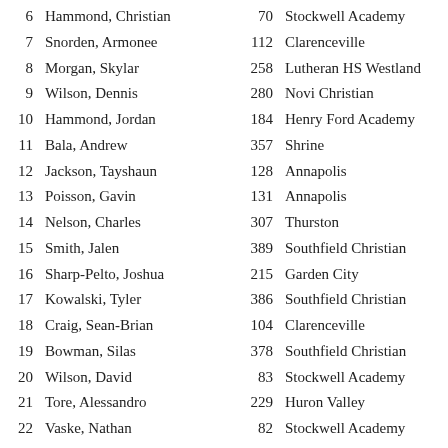| # | Name | Bib | School |
| --- | --- | --- | --- |
| 6 | Hammond, Christian | 70 | Stockwell Academy |
| 7 | Snorden, Armonee | 112 | Clarenceville |
| 8 | Morgan, Skylar | 258 | Lutheran HS Westland |
| 9 | Wilson, Dennis | 280 | Novi Christian |
| 10 | Hammond, Jordan | 184 | Henry Ford Academy |
| 11 | Bala, Andrew | 357 | Shrine |
| 12 | Jackson, Tayshaun | 128 | Annapolis |
| 13 | Poisson, Gavin | 131 | Annapolis |
| 14 | Nelson, Charles | 307 | Thurston |
| 15 | Smith, Jalen | 389 | Southfield Christian |
| 16 | Sharp-Pelto, Joshua | 215 | Garden City |
| 17 | Kowalski, Tyler | 386 | Southfield Christian |
| 18 | Craig, Sean-Brian | 104 | Clarenceville |
| 19 | Bowman, Silas | 378 | Southfield Christian |
| 20 | Wilson, David | 83 | Stockwell Academy |
| 21 | Tore, Alessandro | 229 | Huron Valley |
| 22 | Vaske, Nathan | 82 | Stockwell Academy |
| 23 | James, Emanuael | 210 | Garden City |
| 24 | Dupont, Mason | 252 | Lutheran HS Westland |
| 25 | Nasser, Mohammed | 159 | Crestwood |
| 26 | Hall, Milan | 493 | Taylor Prep |